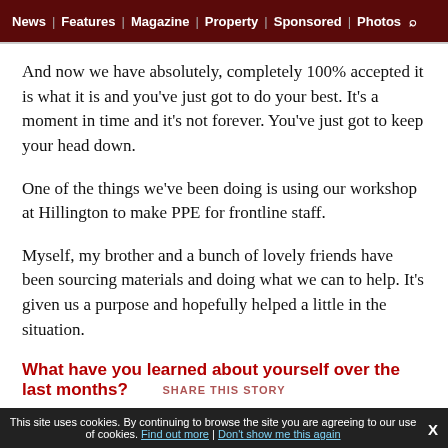News | Features | Magazine | Property | Sponsored | Photos
And now we have absolutely, completely 100% accepted it is what it is and you've just got to do your best. It's a moment in time and it's not forever. You've just got to keep your head down.
One of the things we've been doing is using our workshop at Hillington to make PPE for frontline staff.
Myself, my brother and a bunch of lovely friends have been sourcing materials and doing what we can to help. It's given us a purpose and hopefully helped a little in the situation.
What have you learned about yourself over the last months?
I need to get better at business! You think you have got a good
This site uses cookies. By continuing to browse the site you are agreeing to our use of cookies. Find out more | Don't show me this again